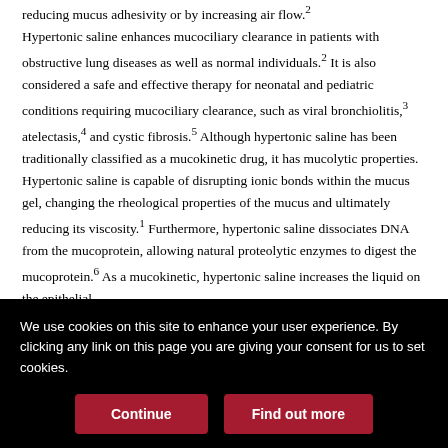reducing mucus adhesivity or by increasing air flow.2 Hypertonic saline enhances mucociliary clearance in patients with obstructive lung diseases as well as normal individuals.2 It is also considered a safe and effective therapy for neonatal and pediatric conditions requiring mucociliary clearance, such as viral bronchiolitis,3 atelectasis,4 and cystic fibrosis.5 Although hypertonic saline has been traditionally classified as a mucokinetic drug, it has mucolytic properties. Hypertonic saline is capable of disrupting ionic bonds within the mucus gel, changing the rheological properties of the mucus and ultimately reducing its viscosity.1 Furthermore, hypertonic saline dissociates DNA from the mucoprotein, allowing natural proteolytic enzymes to digest the mucoprotein.6 As a mucokinetic, hypertonic saline increases the liquid on the epithelial
We use cookies on this site to enhance your user experience. By clicking any link on this page you are giving your consent for us to set cookies.